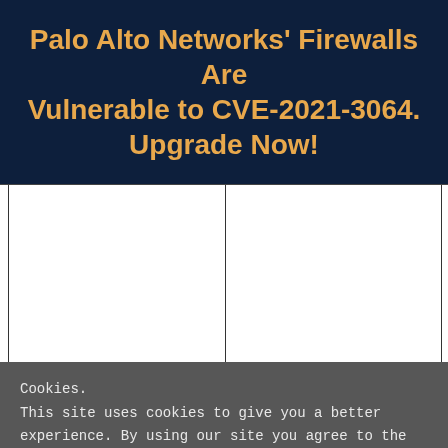Palo Alto Networks' Firewalls Are Vulnerable to CVE-2021-3064. Upgrade Now!
[Figure (other): Two-column white table area with dark vertical borders, content area of a webpage article]
Cookies.
This site uses cookies to give you a better experience. By using our site you agree to the use of cookies. See our cookie policy for more details.
I Accept